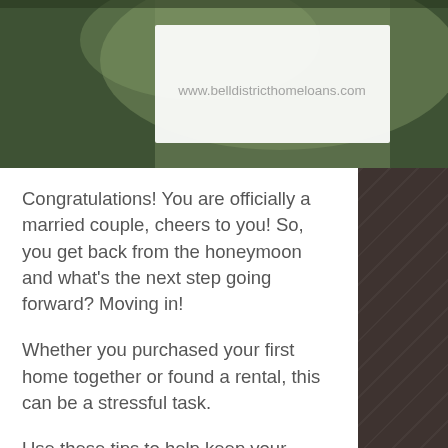[Figure (photo): Top portion of a webpage screenshot showing a blurred nature/forest background with a white banner containing blurred URL text 'www.belldistricthomeloans.com']
Congratulations! You are officially a married couple, cheers to you! So, you get back from the honeymoon and what's the next step going forward? Moving in!
Whether you purchased your first home together or found a rental, this can be a stressful task.
Use these tips to help keep your composure and make your move a breeze!